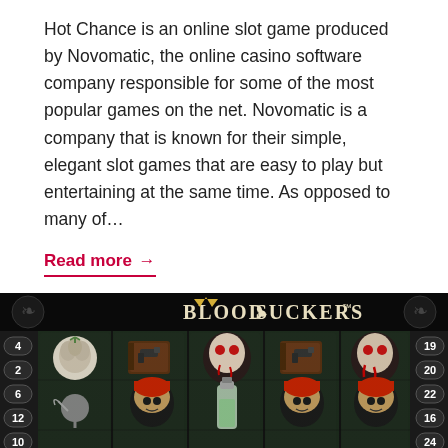Hot Chance is an online slot game produced by Novomatic, the online casino software company responsible for some of the most popular games on the net. Novomatic is a company that is known for their simple, elegant slot games that are easy to play but entertaining at the same time. As opposed to many of…
Read more →
[Figure (photo): Screenshot of the Blood Suckers online slot game interface by NetEnt, showing 5 reels with vampire-themed symbols including garlic, a book with a gun, a vampire face, a turbaned character, a bottle, and payline numbers on the sides.]